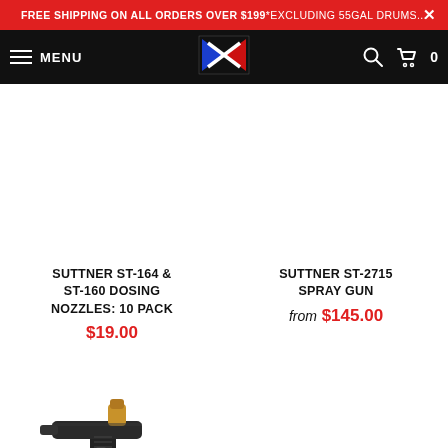FREE SHIPPING ON ALL ORDERS OVER $199 *EXCLUDING 55GAL DRUMS...
[Figure (screenshot): Website navigation bar with hamburger menu icon, MENU text, stylized X logo in red/blue, search icon, and cart icon with 0 count]
SUTTNER ST-164 & ST-160 DOSING NOZZLES: 10 PACK
$19.00
SUTTNER ST-2715 SPRAY GUN
from $145.00
[Figure (photo): Pressure washer spray gun in dark color with brass fitting visible at top]